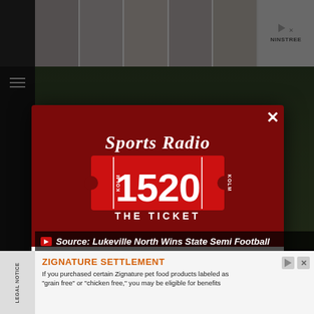[Figure (screenshot): Top advertisement strip showing high heel shoes with 'NINSTREE' brand label and navigation arrows]
[Figure (logo): Sports Radio 1520 KOLM The Ticket logo - white ticket-shaped design with bold '1520' on red background, cursive 'Sports Radio' text above, 'THE TICKET' text below]
DOWNLOAD THE KOLM - 1520 THE TICKET MOBILE APP
GET OUR FREE MOBILE APP
Source: Lukeville North Wins State Semi Football
ZIGNATURE SETTLEMENT
If you purchased certain Zignature pet food products labeled as "grain free" or "chicken free," you may be eligible for benefits
LEGAL NOTICE